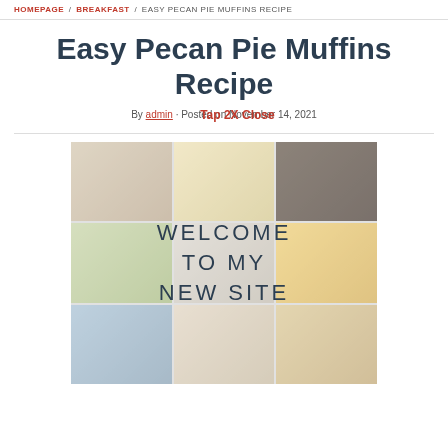HOMEPAGE / BREAKFAST / EASY PECAN PIE MUFFINS RECIPE
Easy Pecan Pie Muffins Recipe
By admin · Posted on November 14, 2021
Tap 2X Close
[Figure (photo): Collage of food photos with text overlay reading WELCOME TO MY NEW SITE]